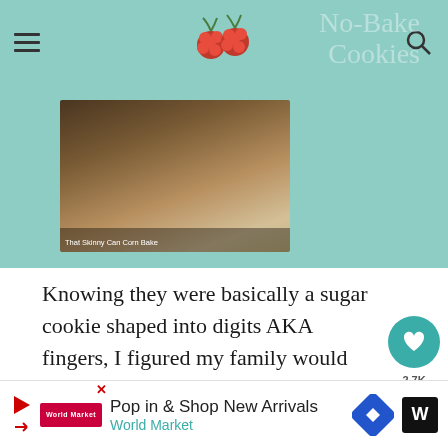[Figure (screenshot): Website navigation bar with hamburger menu, raspberry logo, and search icon on teal/mint background]
[Figure (photo): Food photo showing cookies with chocolate and oats on dark background, with text overlay 'That Skinny Can Corn Bake']
Knowing they were basically a sugar cookie shaped into digits AKA fingers, I figured my family would happily indulge.  Though, I was expecting the almonds to be sacrificed right into the garba Or maybe my mouth, if I could intercept them!
Between these and some Spider Choco Cookies, we were set with sweet Halloween treats.
[Figure (infographic): Advertisement bar: Pop in & Shop New Arrivals - World Market with arrow play button, logo, diamond navigation icon]